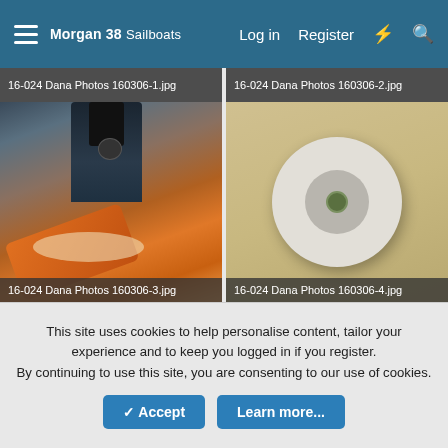Morgan 38 Sailboats  Log in  Register
[Figure (photo): 16-024 Dana Photos 160306-1.jpg - partial view at top of page, machining/drilling equipment with orange clamps]
[Figure (photo): 16-024 Dana Photos 160306-2.jpg - partial view at top of page, white ring/washer component on beige surface]
[Figure (photo): 16-024 Dana Photos 160306-3.jpg - machining/drilling tool with orange clamps cutting wood shavings]
[Figure (photo): 16-024 Dana Photos 160306-4.jpg - white donut/ring shaped component with center bolt on beige surface]
[Figure (photo): 16-024 Dana Photos - partial view, black machinery/drill press on light background]
[Figure (photo): 16-024 Dana Photos - partial view, beige curved ring/arc shape on grey-blue surface]
This site uses cookies to help personalise content, tailor your experience and to keep you logged in if you register.
By continuing to use this site, you are consenting to our use of cookies.
Accept  Learn more...